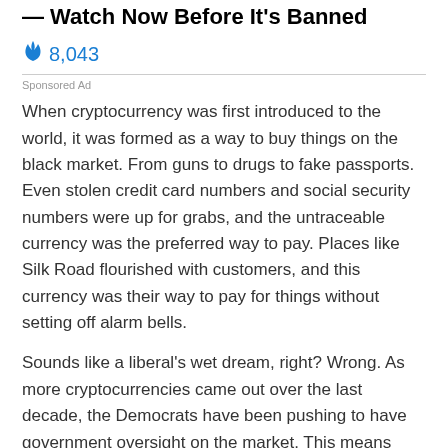— Watch Now Before It's Banned
🔥 8,043
Sponsored Ad
When cryptocurrency was first introduced to the world, it was formed as a way to buy things on the black market. From guns to drugs to fake passports. Even stolen credit card numbers and social security numbers were up for grabs, and the untraceable currency was the preferred way to pay. Places like Silk Road flourished with customers, and this currency was their way to pay for things without setting off alarm bells.
Sounds like a liberal's wet dream, right? Wrong. As more cryptocurrencies came out over the last decade, the Democrats have been pushing to have government oversight on the market. This means monitoring what is being spent, when, by, and to who. Needless to say, this idea sent the